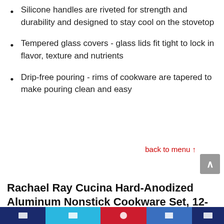Silicone handles are riveted for strength and durability and designed to stay cool on the stovetop
Tempered glass covers - glass lids fit tight to lock in flavor, texture and nutrients
Drip-free pouring - rims of cookware are tapered to make pouring clean and easy
back to menu ↑
Rachael Ray Cucina Hard-Anodized Aluminum Nonstick Cookware Set, 12-Piece, Gray, Cranberry Red Handles